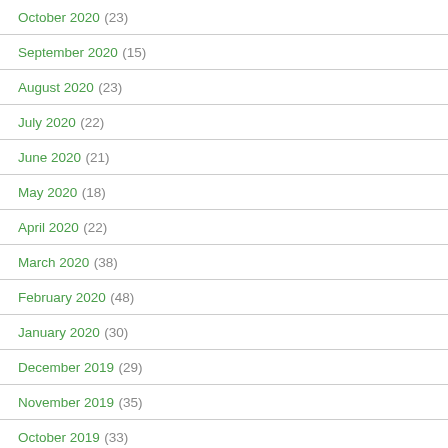October 2020 (23)
September 2020 (15)
August 2020 (23)
July 2020 (22)
June 2020 (21)
May 2020 (18)
April 2020 (22)
March 2020 (38)
February 2020 (48)
January 2020 (30)
December 2019 (29)
November 2019 (35)
October 2019 (33)